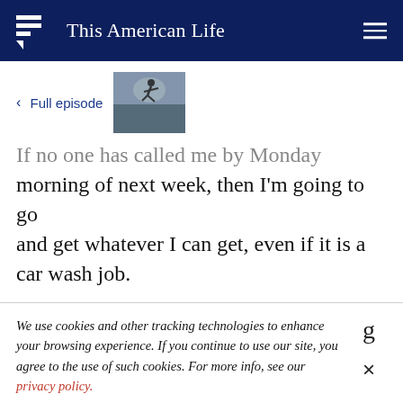This American Life
< Full episode
[Figure (photo): Thumbnail image of a person jumping or leaping against a cloudy sky backdrop]
If no one has called me by Monday morning of next week, then I'm going to go and get whatever I can get, even if it is a car wash job.
We use cookies and other tracking technologies to enhance your browsing experience. If you continue to use our site, you agree to the use of such cookies. For more info, see our privacy policy.